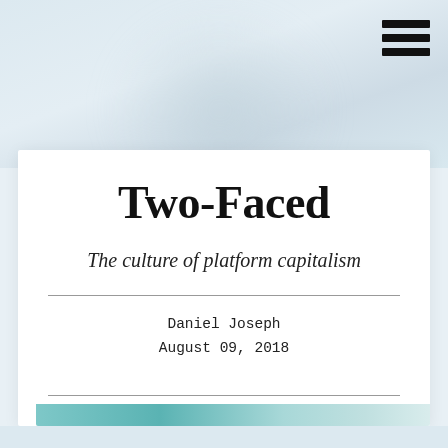[Figure (photo): Blurred decorative header background with light blue-grey gradient tones]
Two-Faced
The culture of platform capitalism
Daniel Joseph
August 09, 2018
[Figure (other): Teal/mint colored decorative bar at the bottom of the page]